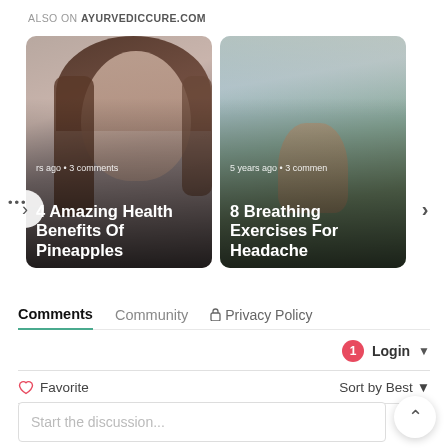ALSO ON AYURVEDICCURE.COM
[Figure (photo): Card 1: Woman sneezing into tissue, text overlay: 'rs ago • 3 comments' and '4 Amazing Health Benefits Of Pineapples']
[Figure (photo): Card 2: Woman meditating outdoors, text overlay: '5 years ago • 3 comments' and '8 Breathing Exercises For Headache']
Comments
Community
Privacy Policy
1
Login
Favorite
Sort by Best
Start the discussion...